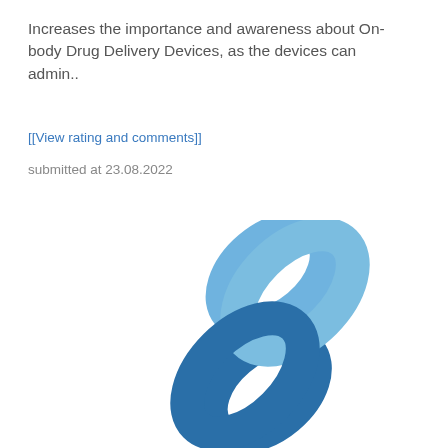Increases the importance and awareness about On-body Drug Delivery Devices, as the devices can admin..
[[View rating and comments]]
submitted at 23.08.2022
[Figure (illustration): A chain link icon composed of two interlocking oval links. The upper-right link is light blue and the lower-left link is dark blue, overlapping diagonally.]